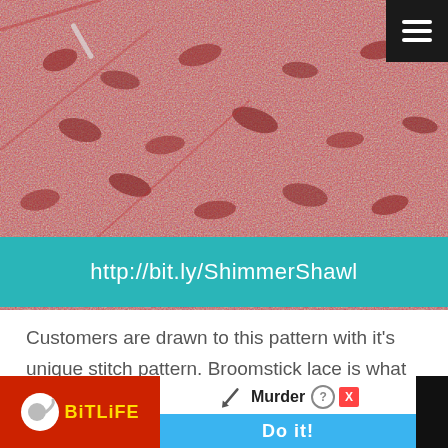[Figure (photo): Close-up photo of red/pink broomstick lace crochet shawl texture with a teal banner overlay showing a URL]
http://bit.ly/ShimmerShawl
Customers are drawn to this pattern with it's unique stitch pattern. Broomstick lace is what gives this shawl it's unique look. While it appe... only
[Figure (screenshot): BitLife advertisement banner showing Murder / Do it! game ad]